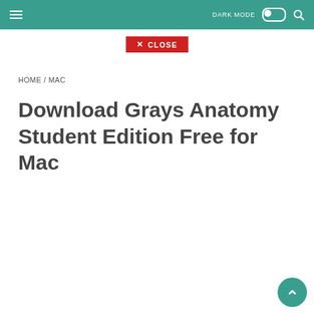≡   DARK MODE  🔍
[Figure (screenshot): Red close button with X CLOSE label]
HOME / MAC
Download Grays Anatomy Student Edition Free for Mac